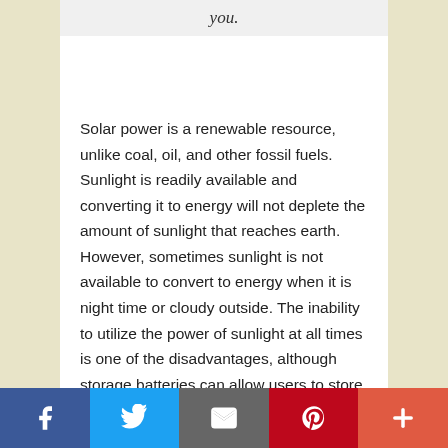you.
Solar power is a renewable resource, unlike coal, oil, and other fossil fuels. Sunlight is readily available and converting it to energy will not deplete the amount of sunlight that reaches earth. However, sometimes sunlight is not available to convert to energy when it is night time or cloudy outside. The inability to utilize the power of sunlight at all times is one of the disadvantages, although storage batteries can allow users to store and use energy even when the sun is not shining.
f  [twitter]  [email]  p  +